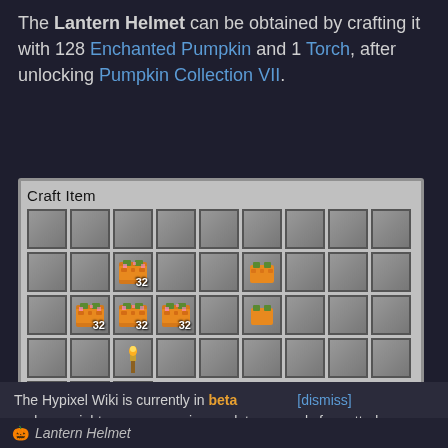The Lantern Helmet can be obtained by crafting it with 128 Enchanted Pumpkin and 1 Torch, after unlocking Pumpkin Collection VII.
[Figure (screenshot): Minecraft-style crafting grid UI labeled 'Craft Item' showing a 9x4 grid with enchanted pumpkins (each labeled 32) placed in positions and a torch, with a plain pumpkin result on the right side.]
The Hypixel Wiki is currently in beta and you might come across incomplete or poorly formatted pages. Please report any issues you encounter here.
Lantern Helmet